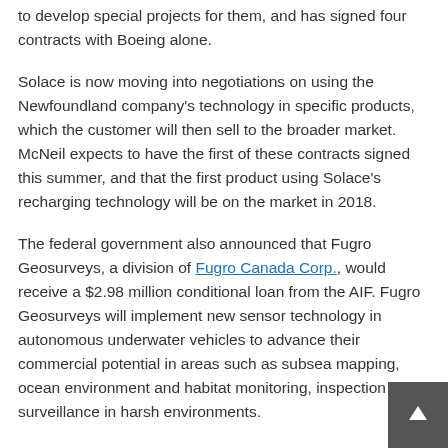to develop special projects for them, and has signed four contracts with Boeing alone.
Solace is now moving into negotiations on using the Newfoundland company's technology in specific products, which the customer will then sell to the broader market. McNeil expects to have the first of these contracts signed this summer, and that the first product using Solace's recharging technology will be on the market in 2018.
The federal government also announced that Fugro Geosurveys, a division of Fugro Canada Corp., would receive a $2.98 million conditional loan from the AIF. Fugro Geosurveys will implement new sensor technology in autonomous underwater vehicles to advance their commercial potential in areas such as subsea mapping, ocean environment and habitat monitoring, inspection and surveillance in harsh environments.